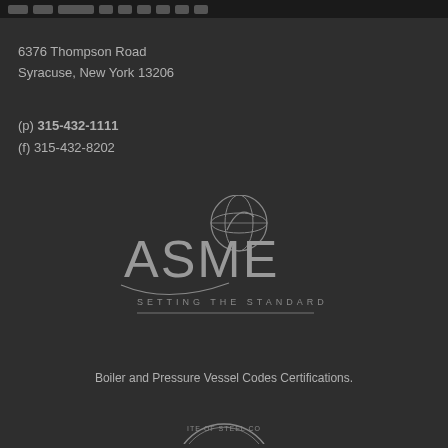6376 Thompson Road
Syracuse, New York 13206
(p) 315-432-1111
(f) 315-432-8202
[Figure (logo): ASME logo with globe and text 'SETTING THE STANDARD' with decorative line underneath]
Boiler and Pressure Vessel Codes Certifications.
[Figure (logo): Partial circular seal reading 'ITE OF STEEL CO']